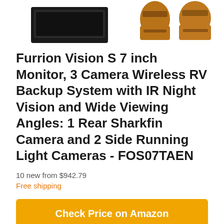[Figure (photo): Product photos showing a black monitor/receiver unit on the left, and two amber/gold colored Sharkfin or side camera units on the right, partially cropped at the top of the page.]
Furrion Vision S 7 inch Monitor, 3 Camera Wireless RV Backup System with IR Night Vision and Wide Viewing Angles: 1 Rear Sharkfin Camera and 2 Side Running Light Cameras - FOS07TAEN
10 new from $942.79
Free shipping
Check Price on Amazon
Amazon.com
as of June 27, 2022 8:56 am ⓘ